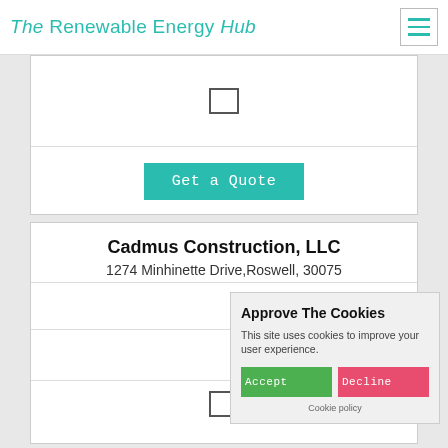The Renewable Energy Hub
[Figure (screenshot): Checkbox icon in top card]
Get a Quote
Cadmus Construction, LLC
1274 Minhinette Drive,Roswell, 30075
95.5
[Figure (other): Star rating icons (2-3 stars shown, greyed out)]
[Figure (screenshot): Checkbox icon in bottom card]
Approve The Cookies
This site uses cookies to improve your user experience.
Accept
Decline
Cookie policy